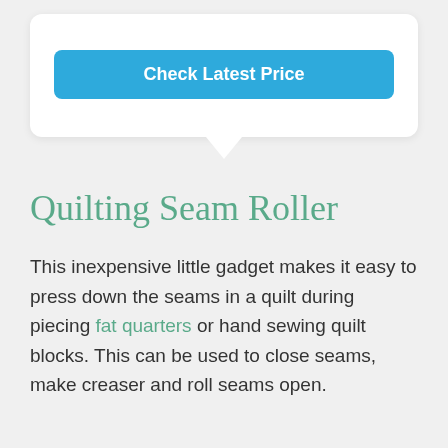[Figure (other): Blue button labeled 'Check Latest Price' inside a white card with a downward-pointing speech bubble tail]
Quilting Seam Roller
This inexpensive little gadget makes it easy to press down the seams in a quilt during piecing fat quarters or hand sewing quilt blocks. This can be used to close seams, make creaser and roll seams open.
...